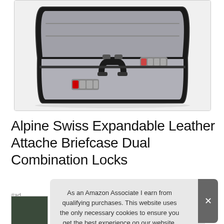[Figure (photo): Open black leather briefcase with gray interior lining, dual combination locks visible on the front, and a handle in the center. The case is shown from above at an angle, fully opened.]
Alpine Swiss Expandable Leather Attache Briefcase Dual Combination Locks
#ad
As an Amazon Associate I earn from qualifying purchases. This website uses the only necessary cookies to ensure you get the best experience on our website. More information